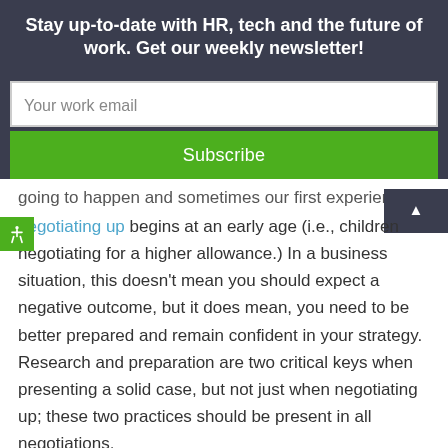Stay up-to-date with HR, tech and the future of work. Get our weekly newsletter!
Your work email
Subscribe
going to happen and sometimes our first experience negotiating up begins at an early age (i.e., children negotiating for a higher allowance.) In a business situation, this doesn't mean you should expect a negative outcome, but it does mean, you need to be better prepared and remain confident in your strategy. Research and preparation are two critical keys when presenting a solid case, but not just when negotiating up; these two practices should be present in all negotiations.
And always keep in mind, you are in the midst of a negotiation because you belong there. The value of